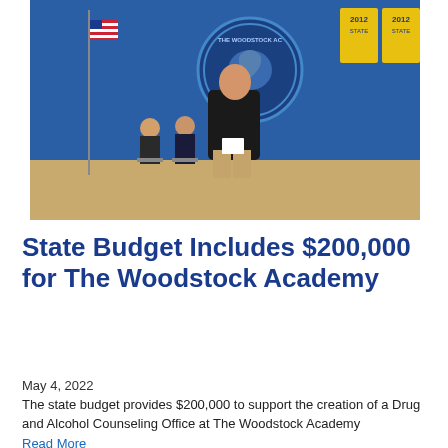[Figure (photo): A man in a black jacket holding papers stands in a school gymnasium with Woodstock Academy branding, an American flag, and two people seated behind him. Gold state championship banners dated 2012 hang on the blue and white gym walls.]
State Budget Includes $200,000 for The Woodstock Academy
May 4, 2022
The state budget provides $200,000 to support the creation of a Drug and Alcohol Counseling Office at The Woodstock Academy
Read More